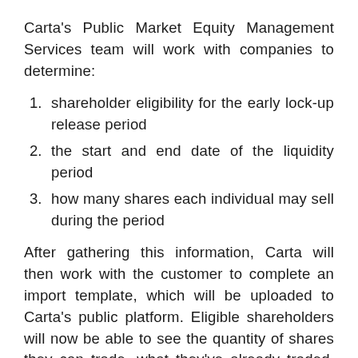Carta's Public Market Equity Management Services team will work with companies to determine:
shareholder eligibility for the early lock-up release period
the start and end date of the liquidity period
how many shares each individual may sell during the period
After gathering this information, Carta will then work with the customer to complete an import template, which will be uploaded to Carta's public platform. Eligible shareholders will now be able to see the quantity of shares they can trade, what they've already traded, and what portion of shares is still remaining.
Allow your employees to begin trading company